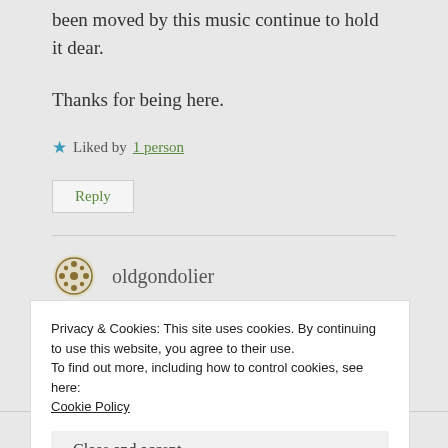been moved by this music continue to hold it dear.
Thanks for being here.
★ Liked by 1 person
Reply
oldgondolier
Privacy & Cookies: This site uses cookies. By continuing to use this website, you agree to their use.
To find out more, including how to control cookies, see here:
Cookie Policy
Close and accept
watching the YouTube video synthesis of